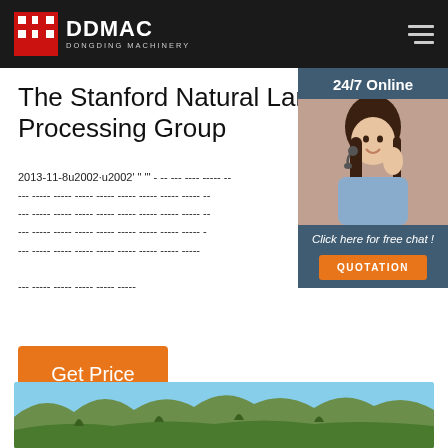DDMAC DONGDING MACHINERY
The Stanford Natural Language Processing Group
2013-11-8u2002·u2002' " "' - -- --- ---- ----- -- --- ----- ----- ----- ----- ----- ----- ----- ----- -- --- ----- ----- ----- ----- ----- ----- ----- ----- -- --- ----- ----- ----- ----- ----- ----- ----- ----- -- --- ----- ----- ----- ----- ----- ----- ----- -- --- ----- ----- ----- -----
[Figure (photo): Customer service representative with headset, 24/7 Online chat widget with QUOTATION button]
[Figure (photo): Mountain landscape with blue sky and green rocky hillside]